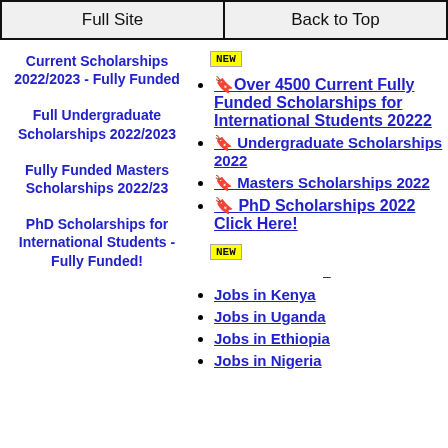Full Site | Back to Top
Current Scholarships 2022/2023 - Fully Funded
Full Undergraduate Scholarships 2022/2023
Fully Funded Masters Scholarships 2022/23
PhD Scholarships for International Students - Fully Funded!
🔖Over 4500 Current Fully Funded Scholarships for International Students 20222
🔖 Undergraduate Scholarships 2022
🔖 Masters Scholarships 2022
🔖 PhD Scholarships 2022 Click Here!
Jobs in Kenya
Jobs in Uganda
Jobs in Ethiopia
Jobs in Nigeria